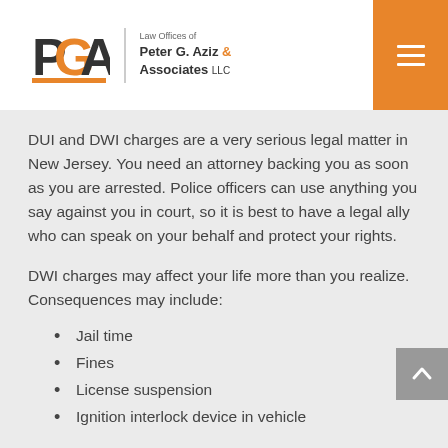[Figure (logo): Logo for Law Offices of Peter G. Aziz & Associates LLC with PGA monogram in orange and black]
DUI and DWI charges are a very serious legal matter in New Jersey. You need an attorney backing you as soon as you are arrested. Police officers can use anything you say against you in court, so it is best to have a legal ally who can speak on your behalf and protect your rights.
DWI charges may affect your life more than you realize. Consequences may include:
Jail time
Fines
License suspension
Ignition interlock device in vehicle
Having your license suspended or revoked will